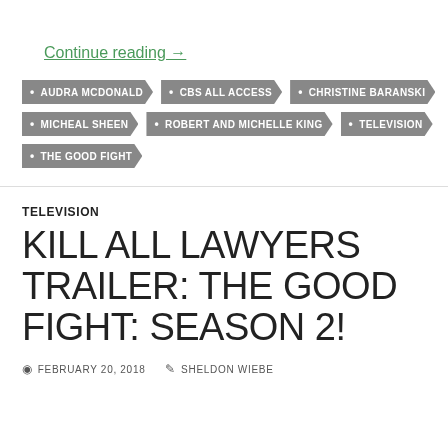Continue reading →
AUDRA MCDONALD
CBS ALL ACCESS
CHRISTINE BARANSKI
MICHEAL SHEEN
ROBERT AND MICHELLE KING
TELEVISION
THE GOOD FIGHT
TELEVISION
KILL ALL LAWYERS TRAILER: THE GOOD FIGHT: SEASON 2!
FEBRUARY 20, 2018   SHELDON WIEBE